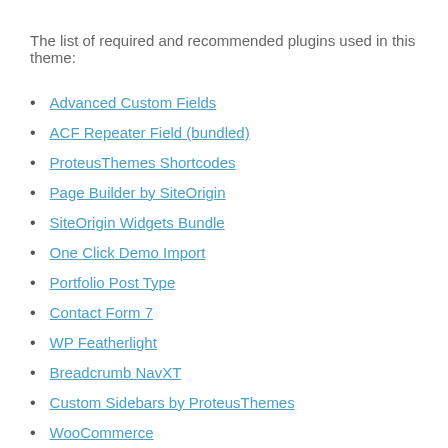The list of required and recommended plugins used in this theme:
Advanced Custom Fields
ACF Repeater Field (bundled)
ProteusThemes Shortcodes
Page Builder by SiteOrigin
SiteOrigin Widgets Bundle
One Click Demo Import
Portfolio Post Type
Contact Form 7
WP Featherlight
Breadcrumb NavXT
Custom Sidebars by ProteusThemes
WooCommerce